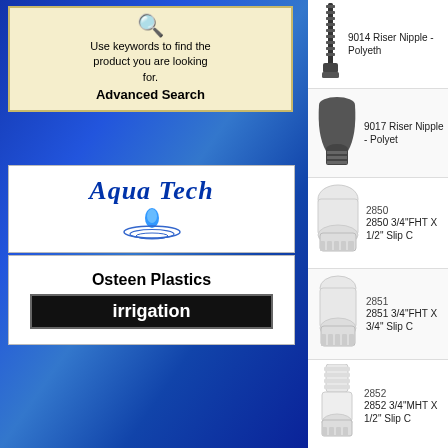[Figure (illustration): Search icon (magnifying glass)]
Use keywords to find the product you are looking for.
Advanced Search
[Figure (logo): Aqua Tech logo with water drop and ripples]
[Figure (logo): Osteen Plastics irrigation logo]
[Figure (photo): 9014 Riser Nipple - Polyethylene product photo]
9014 Riser Nipple - Polyeth
[Figure (photo): 9017 Riser Nipple - Polyethylene product photo]
9017 Riser Nipple - Polyet
[Figure (photo): 2850 3/4 FHT X 1/2 Slip connector product photo]
2850
2850 3/4"FHT X 1/2" Slip C
[Figure (photo): 2851 3/4 FHT X 3/4 Slip connector product photo]
2851
2851 3/4"FHT X 3/4" Slip C
[Figure (photo): 2852 3/4 MHT X 1/2 Slip connector product photo]
2852
2852 3/4"MHT X 1/2" Slip C